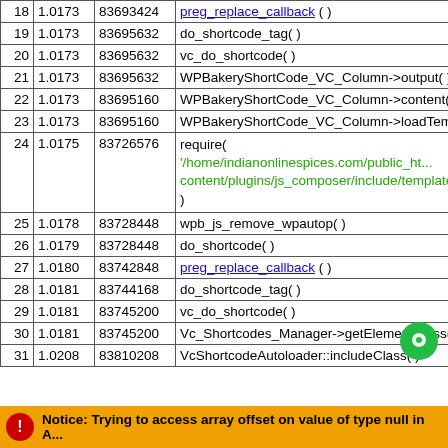| # | Time | Memory | Function |
| --- | --- | --- | --- |
| 18 | 1.0173 | 83693424 | preg_replace_callback ( ) |
| 19 | 1.0173 | 83695632 | do_shortcode_tag( ) |
| 20 | 1.0173 | 83695632 | vc_do_shortcode( ) |
| 21 | 1.0173 | 83695632 | WPBakeryShortCode_VC_Column->output( ) |
| 22 | 1.0173 | 83695160 | WPBakeryShortCode_VC_Column->content( ) |
| 23 | 1.0173 | 83695160 | WPBakeryShortCode_VC_Column->loadTempla... |
| 24 | 1.0175 | 83726576 | require( '/home/indianonlinespices.com/public_ht... content/plugins/js_composer/include/templates/sh... ) |
| 25 | 1.0178 | 83728448 | wpb_js_remove_wpautop( ) |
| 26 | 1.0179 | 83728448 | do_shortcode( ) |
| 27 | 1.0180 | 83742848 | preg_replace_callback ( ) |
| 28 | 1.0181 | 83744168 | do_shortcode_tag( ) |
| 29 | 1.0181 | 83745200 | vc_do_shortcode( ) |
| 30 | 1.0181 | 83745200 | Vc_Shortcodes_Manager->getElementClass( ) |
| 31 | 1.0208 | 83810208 | VcShortcodeAutoloader::includeClass( ) |
Notice: Trying to access array offset on value of type null in A...